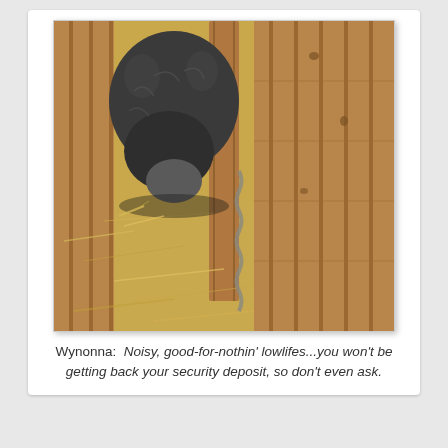[Figure (photo): A dark-colored pig standing in a wooden stall or pen, with hay/straw covering the floor. The pig is seen from above, pushing against a wooden plank wall. The enclosure appears to be a barn or animal shelter with wooden slat walls.]
Wynonna:  Noisy, good-for-nothin' lowlifes...you won't be getting back your security deposit, so don't even ask.